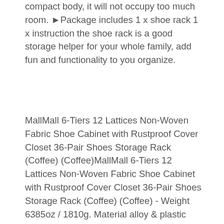compact body, it will not occupy too much room. ►Package includes 1 x shoe rack 1 x instruction the shoe rack is a good storage helper for your whole family, add fun and functionality to you organize.
MallMall 6-Tiers 12 Lattices Non-Woven Fabric Shoe Cabinet with Rustproof Cover Closet 36-Pair Shoes Storage Rack (Coffee) (Coffee)MallMall 6-Tiers 12 Lattices Non-Woven Fabric Shoe Cabinet with Rustproof Cover Closet 36-Pair Shoes Storage Rack (Coffee) (Coffee) - Weight 6385oz / 1810g. Material alloy & plastic color coffee type 6 layers 12 lattices. It helps you easily locate the shoes you are looking for and prevents those time-consuming household hunts for a missing shoe. Dimensions